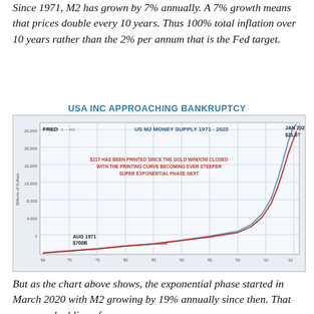Since 1971, M2 has grown by 7% annually. A 7% growth means that prices double every 10 years. Thus 100% total inflation over 10 years rather than the 2% per annum that is the Fed target.
USA INC APPROACHING BANKRUPTCY
[Figure (continuous-plot): Line chart from FRED showing US M2 money supply from 1966 to 2022. An exponential curve rises steeply to $21.6T in January 2022. Red annotation text states '$21T HAS BEEN PRINTED SINCE THE GOLD WINDOW CLOSED WITH THE PRINTING CURVE BECOMING EVER STEEPER SUPER EXPONENTIAL PHASE NEXT'. Labeled start point: AUG 1971 $700B. Labeled end point: JAN 2022 $21.6T.]
But as the chart above shows, the exponential phase started in March 2020 with M2 growing by 19% annually since then. That means a doubling of